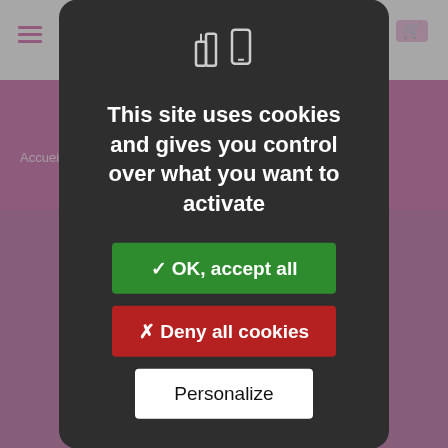[Figure (screenshot): Cookie consent modal overlay on a French e-commerce website (ligue feminine). The modal has a dark background with a cookie/finger icon, bold white text saying 'This site uses cookies and gives you control over what you want to activate', a green 'OK, accept all' button, a red 'Deny all cookies' button, and a white 'Personalize' button.]
This site uses cookies and gives you control over what you want to activate
✓ OK, accept all
✗ Deny all cookies
Personalize